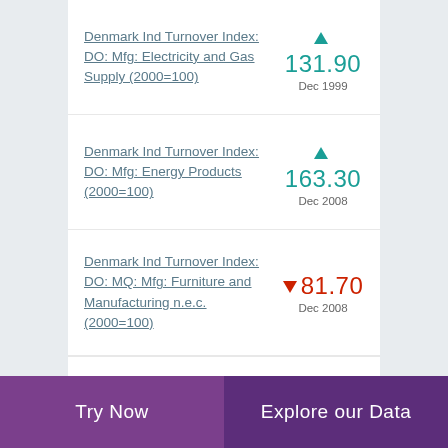Denmark Ind Turnover Index: DO: Mfg: Electricity and Gas Supply (2000=100) ▲ 131.90 Dec 1999
Denmark Ind Turnover Index: DO: Mfg: Energy Products (2000=100) ▲ 163.30 Dec 2008
Denmark Ind Turnover Index: DO: MQ: Mfg: Furniture and Manufacturing n.e.c. (2000=100) ▼ 81.70 Dec 2008
Try Now | Explore our Data